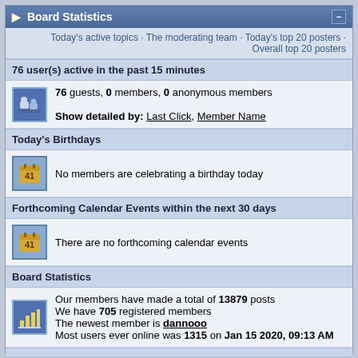Board Statistics
Today's active topics · The moderating team · Today's top 20 posters · Overall top 20 posters
76 user(s) active in the past 15 minutes
76 guests, 0 members, 0 anonymous members
Show detailed by: Last Click, Member Name
Today's Birthdays
No members are celebrating a birthday today
Forthcoming Calendar Events within the next 30 days
There are no forthcoming calendar events
Board Statistics
Our members have made a total of 13879 posts
We have 705 registered members
The newest member is dannooo
Most users ever online was 1315 on Jan 15 2020, 09:13 AM
Lo-Fi Version   Time is now: 31st August 2022 - 04:36 AM